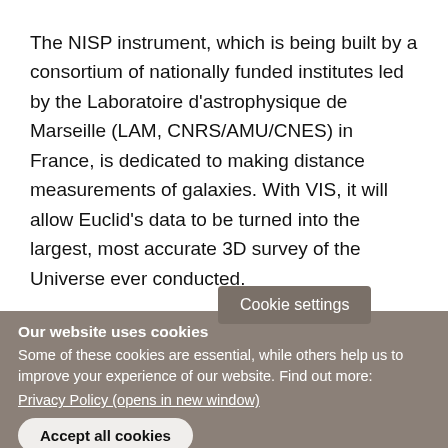The NISP instrument, which is being built by a consortium of nationally funded institutes led by the Laboratoire d'astrophysique de Marseille (LAM, CNRS/AMU/CNES) in France, is dedicated to making distance measurements of galaxies. With VIS, it will allow Euclid's data to be turned into the largest, most accurate 3D survey of the Universe ever conducted.
The UK Space Ag... [Science
Cookie settings
Our website uses cookies
Some of these cookies are essential, while others help us to improve your experience of our website. Find out more:
Privacy Policy (opens in new window)
Accept all cookies
Manage cookies